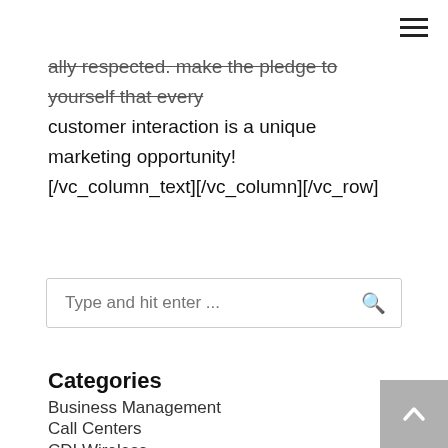ally respected. make the pledge to yourself that every customer interaction is a unique marketing opportunity! [/vc_column_text][/vc_column][/vc_row]
Type and hit enter ...
Categories
Business Management
Call Centers
CDI Wireless